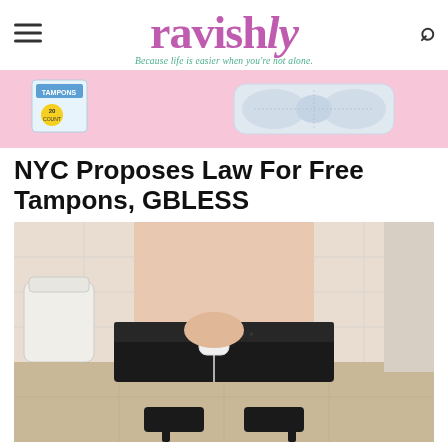ravishly — Because life is easier when you're not alone.
[Figure (photo): Advertisement banner showing tampons/pads product on pink background]
NYC Proposes Law For Free Tampons, GBLESS
[Figure (photo): Person sitting on toilet wearing black lace underwear pulled down, holding a tampon, wearing black high heels, bathroom setting]